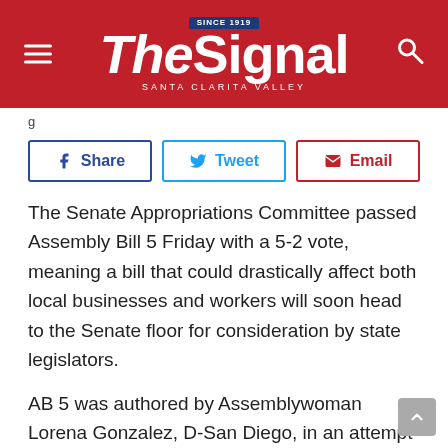The Signal — Santa Clarita Valley
[Figure (screenshot): Social share buttons: Share (Facebook), Tweet (Twitter), Email]
The Senate Appropriations Committee passed Assembly Bill 5 Friday with a 5-2 vote, meaning a bill that could drastically affect both local businesses and workers will soon head to the Senate floor for consideration by state legislators.
AB 5 was authored by Assemblywoman Lorena Gonzalez, D-San Diego, in an attempt to codify the 2018 Dynamex decision, which was a lawsuit